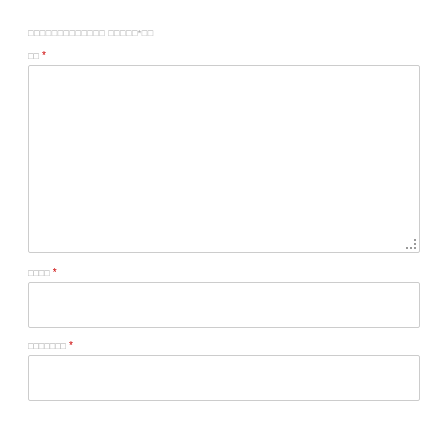□□□□□□□□□□□□□ □□□□□*□□
□□ *
□□□□ *
□□□□□□□ *